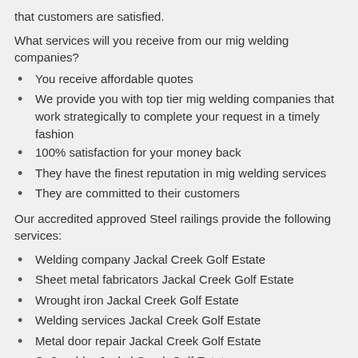that customers are satisfied.
What services will you receive from our mig welding companies?
You receive affordable quotes
We provide you with top tier mig welding companies that work strategically to complete your request in a timely fashion
100% satisfaction for your money back
They have the finest reputation in mig welding services
They are committed to their customers
Our accredited approved Steel railings provide the following services:
Welding company Jackal Creek Golf Estate
Sheet metal fabricators Jackal Creek Golf Estate
Wrought iron Jackal Creek Golf Estate
Welding services Jackal Creek Golf Estate
Metal door repair Jackal Creek Golf Estate
Co2 welder Jackal Creek Golf Estate
Security gate repairs Jackal Creek Golf Estate
Steel works Jackal Creek Golf Estate
Sheet metal fabrication Jackal Creek Golf Estate
Fabrication welding Jackal Creek Golf Estate
Aluminium fabricators Jackal Creek Golf Estate
Steel welding and fabrication Jackal Creek Golf Estate
Steel railings Jackal Creek Golf Estate
Arc welding Jackal Creek Golf Estate
Welding Jackal Creek Golf Estate